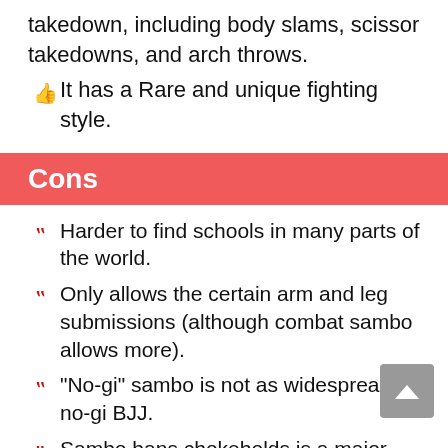takedown, including body slams, scissor takedowns, and arch throws.
It has a Rare and unique fighting style.
Cons
Harder to find schools in many parts of the world.
Only allows the certain arm and leg submissions (although combat sambo allows more).
“No-gi” sambo is not as widespread as no-gi BJJ.
Sambo bans chokeholds is a major disadvantage of the fighting style as a self-defense method.
In comparison to other grappling martial arts like judo or BJJ, there are